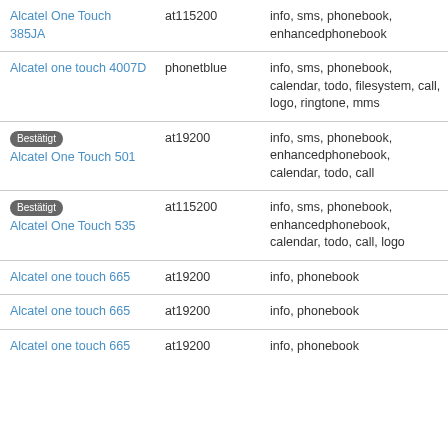| Device | Protocol | Features |
| --- | --- | --- |
| Alcatel One Touch 385JA | at115200 | info, sms, phonebook, enhancedphonebook |
| Alcatel one touch 4007D | phonetblue | info, sms, phonebook, calendar, todo, filesystem, call, logo, ringtone, mms |
| [Bestätigt] Alcatel One Touch 501 | at19200 | info, sms, phonebook, enhancedphonebook, calendar, todo, call |
| [Bestätigt] Alcatel One Touch 535 | at115200 | info, sms, phonebook, enhancedphonebook, calendar, todo, call, logo |
| Alcatel one touch 665 | at19200 | info, phonebook |
| Alcatel one touch 665 | at19200 | info, phonebook |
| Alcatel one touch 665 | at19200 | info, phonebook |